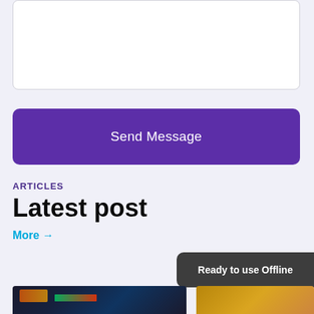[Figure (screenshot): White text input area box with light gray border]
Send Message
ARTICLES
Latest post
More →
Ready to use Offline
[Figure (photo): Financial chart or trading screen image at the bottom left]
[Figure (photo): Gold coins or financial objects at the bottom right]